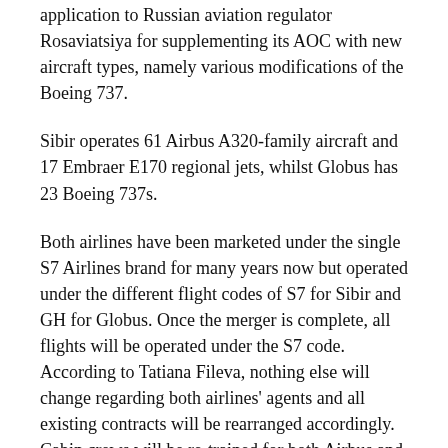application to Russian aviation regulator Rosaviatsiya for supplementing its AOC with new aircraft types, namely various modifications of the Boeing 737.
Sibir operates 61 Airbus A320-family aircraft and 17 Embraer E170 regional jets, whilst Globus has 23 Boeing 737s.
Both airlines have been marketed under the single S7 Airlines brand for many years now but operated under the different flight codes of S7 for Sibir and GH for Globus. Once the merger is complete, all flights will be operated under the S7 code. According to Tatiana Fileva, nothing else will change regarding both airlines' agents and all existing contracts will be rearranged accordingly. Cabin crews will be re-trained for both Airbus and Boeing aircraft.
The combined economic effect of the synergy is